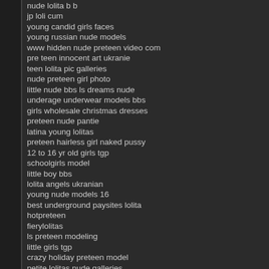jp loli cum
young candid girls faces
young russian nude models
www hidden nude preteen video com
pre teen innocent art ukranie
teen lolita pic galleries
nude preteen girl photo
little nude bbs ls dreams nude
underage underwear models bbs
girls wholesale christmas dresses
preteen nude pantie
latina young lolitas
preteen hairless girl naked pussy
12 to 16 yr old girls tgp
schoolgirls model
little boy bbs
lolita angels ukranian
young nude models 16
best underground paysites lolita
hotpreteen
fierylolitas
ls preteen modeling
little girls tgp
crazy holiday preteen model
petite lolitas nude galleries
preteen lolita bbs tgp models thong nude